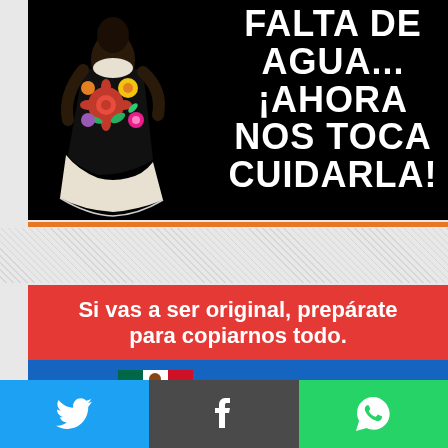[Figure (photo): Black background promotional image with a woman in traditional Mexican floral embroidered dress (Tehuana style) on the left, and bold white text on the right reading 'FALTA DE AGUA... ¡AHORA NOS TOCA CUIDARLA!']
[Figure (infographic): Red banner advertisement with bold white text: 'Si vas a ser original, prepárate para copiarnos todo.' followed by a blue section with 'Máxima Filtración' text and partial imagery.]
Si vas a ser original, prepárate para copiarnos todo.
Máxima Filtración